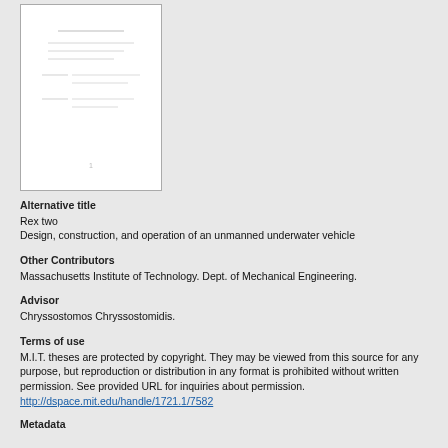[Figure (other): Thumbnail image of a document cover page showing faint text lines]
Alternative title
Rex two
Design, construction, and operation of an unmanned underwater vehicle
Other Contributors
Massachusetts Institute of Technology. Dept. of Mechanical Engineering.
Advisor
Chryssostomos Chryssostomidis.
Terms of use
M.I.T. theses are protected by copyright. They may be viewed from this source for any purpose, but reproduction or distribution in any format is prohibited without written permission. See provided URL for inquiries about permission. http://dspace.mit.edu/handle/1721.1/7582
Metadata